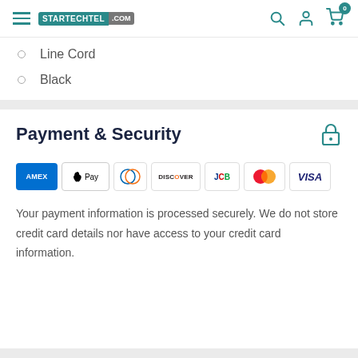STARTECHTEL .COM — navigation header with search, account, and cart icons
Line Cord
Black
Payment & Security
[Figure (logo): Payment method logos: American Express (AMEX), Apple Pay, Diners Club, Discover, JCB, Mastercard, Visa]
Your payment information is processed securely. We do not store credit card details nor have access to your credit card information.